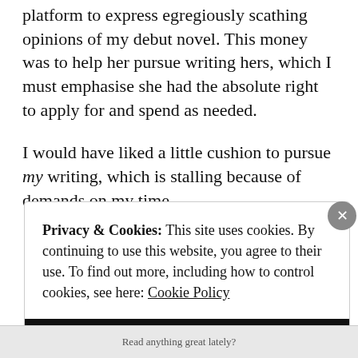platform to express egregiously scathing opinions of my debut novel. This money was to help her pursue writing hers, which I must emphasise she had the absolute right to apply for and spend as needed.
I would have liked a little cushion to pursue my writing, which is stalling because of demands on my time.
Privacy & Cookies: This site uses cookies. By continuing to use this website, you agree to their use. To find out more, including how to control cookies, see here: Cookie Policy
Close and accept
Read anything great lately?